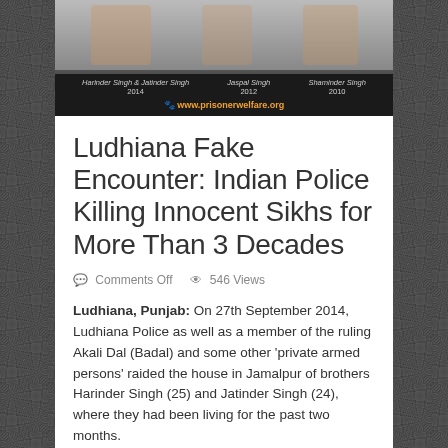[Figure (photo): Banner image showing photos of individuals with names and years: Harinder Singh & Jatinder Singh 2014, Jaspal Singh 2012, Shaminder Singh 2010. Dark bottom bar with www.prisonerwelfare.org URL.]
Ludhiana Fake Encounter: Indian Police Killing Innocent Sikhs for More Than 3 Decades
Comments Off  546 Views
Ludhiana, Punjab: On 27th September 2014, Ludhiana Police as well as a member of the ruling Akali Dal (Badal) and some other 'private armed persons' raided the house in Jamalpur of brothers Harinder Singh (25) and Jatinder Singh (24), where they had been living for the past two months.
Earlier, Machhiwara police had registered a